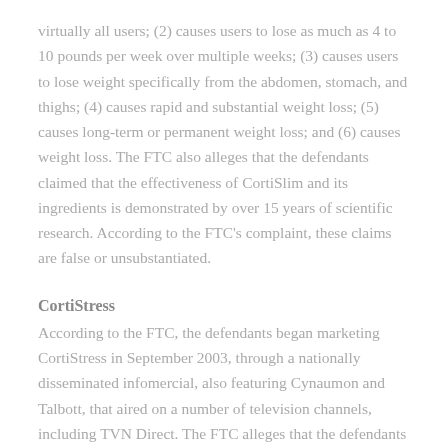virtually all users; (2) causes users to lose as much as 4 to 10 pounds per week over multiple weeks; (3) causes users to lose weight specifically from the abdomen, stomach, and thighs; (4) causes rapid and substantial weight loss; (5) causes long-term or permanent weight loss; and (6) causes weight loss. The FTC also alleges that the defendants claimed that the effectiveness of CortiSlim and its ingredients is demonstrated by over 15 years of scientific research. According to the FTC's complaint, these claims are false or unsubstantiated.
CortiStress
According to the FTC, the defendants began marketing CortiStress in September 2003, through a nationally disseminated infomercial, also featuring Cynaumon and Talbott, that aired on a number of television channels, including TVN Direct. The FTC alleges that the defendants